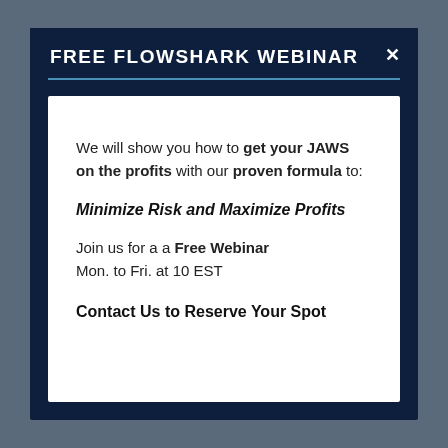FREE FLOWSHARK WEBINAR
We will show you how to get your JAWS on the profits with our proven formula to:
Minimize Risk and Maximize Profits
Join us for a a Free Webinar
Mon. to Fri. at 10 EST
Contact Us to Reserve Your Spot